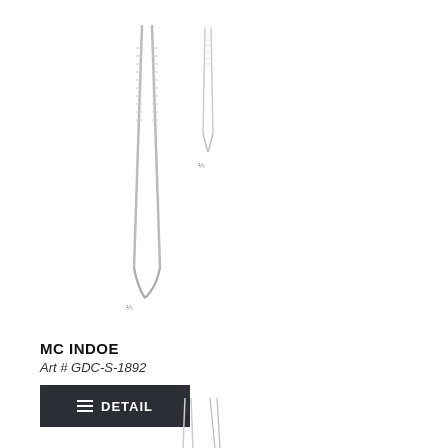[Figure (illustration): Medical surgical forceps/tweezers instrument illustration showing elongated narrow-tipped tweezers with textured grip, shown in two positions/sizes. Line drawing style on white background.]
MC INDOE
Art # GDC-S-1892
[Figure (illustration): Partial view of another surgical instrument at the bottom of the page, only tips visible.]